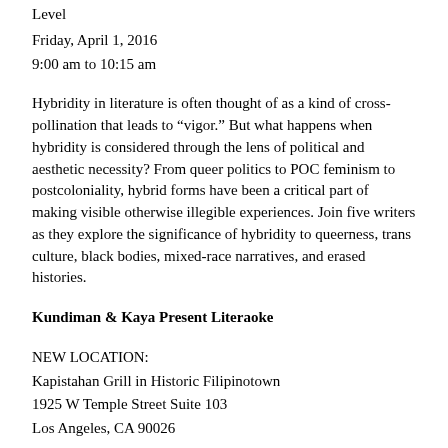Level
Friday, April 1, 2016
9:00 am to 10:15 am
Hybridity in literature is often thought of as a kind of cross-pollination that leads to “vigor.” But what happens when hybridity is considered through the lens of political and aesthetic necessity? From queer politics to POC feminism to postcoloniality, hybrid forms have been a critical part of making visible otherwise illegible experiences. Join five writers as they explore the significance of hybridity to queerness, trans culture, black bodies, mixed-race narratives, and erased histories.
Kundiman & Kaya Present Literaoke
NEW LOCATION:
Kapistahan Grill in Historic Filipinotown
1925 W Temple Street Suite 103
Los Angeles, CA 90026
Friday, April 1, 2016
8:30 pm to 11 pm
Come out and get down with Kaya Press & Kundiman as